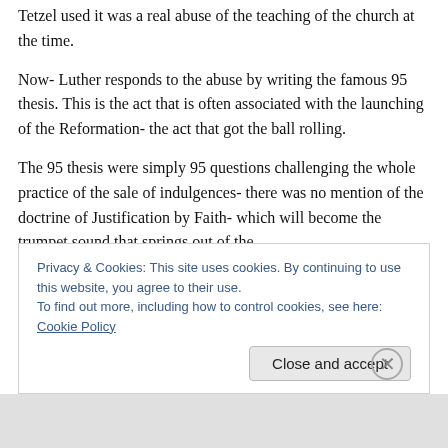Tetzel used it was a real abuse of the teaching of the church at the time.
Now- Luther responds to the abuse by writing the famous 95 thesis. This is the act that is often associated with the launching of the Reformation- the act that got the ball rolling.
The 95 thesis were simply 95 questions challenging the whole practice of the sale of indulgences- there was no mention of the doctrine of Justification by Faith- which will become the trumpet sound that springs out of the
Privacy & Cookies: This site uses cookies. By continuing to use this website, you agree to their use.
To find out more, including how to control cookies, see here: Cookie Policy
Close and accept